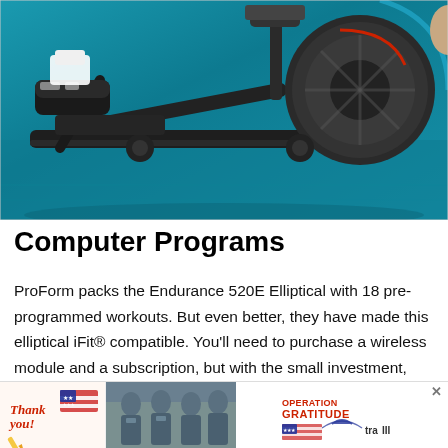[Figure (photo): Close-up photograph of a ProForm Endurance 520E elliptical machine showing the foot pedal, flywheel, and mechanical components against a teal/blue background. A person's foot in a black sneaker is visible at the top left.]
Computer Programs
ProForm packs the Endurance 520E Elliptical with 18 pre-programmed workouts. But even better, they have made this elliptical iFit® compatible. You'll need to purchase a wireless module and a subscription, but with the small investment, your workout options become practically limitless. iFit® is a smart fitness technology tra[ining]
[Figure (photo): Advertisement banner for Operation Gratitude featuring 'Thank you!' text with patriotic styling, a photo of military personnel, and the Operation Gratitude logo]